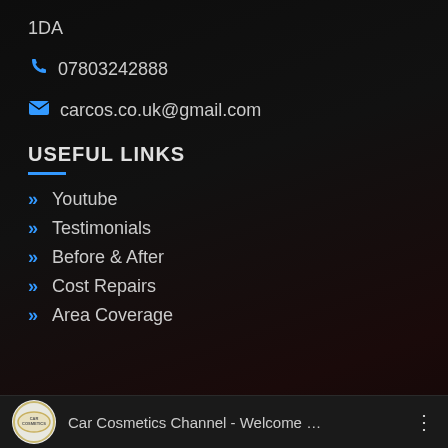1DA
📞 07803242888
✉ carcos.co.uk@gmail.com
USEFUL LINKS
» Youtube
» Testimonials
» Before & After
» Cost Repairs
» Area Coverage
[Figure (logo): Car Cosmetics Channel logo with channel title text 'Car Cosmetics Channel - Welcome …' and three-dot menu icon in a dark bottom bar]